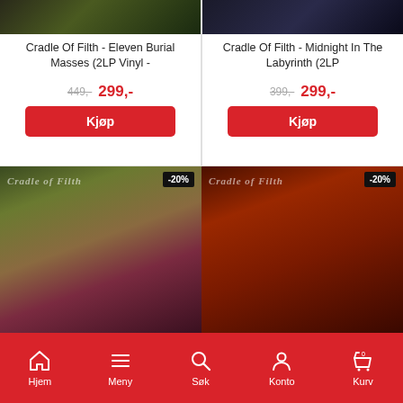[Figure (photo): Cradle Of Filth album cover - dark green tones, top portion cropped]
Cradle Of Filth - Eleven Burial Masses (2LP Vinyl -
449,- 299,-
Kjøp
[Figure (photo): Cradle Of Filth Midnight In The Labyrinth album cover - dark blue tones, top portion cropped]
Cradle Of Filth - Midnight In The Labyrinth (2LP
399,- 299,-
Kjøp
[Figure (photo): Cradle Of Filth album cover - green and red tones, gothic woman figure, -20% badge]
[Figure (photo): Cradle Of Filth album cover - fiery red tones, demonic figure, -20% badge]
Hjem  Meny  Søk  Konto  Kurv